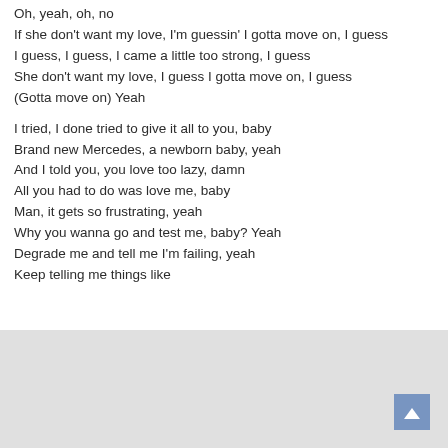Oh, yeah, oh, no
If she don't want my love, I'm guessin' I gotta move on, I guess
I guess, I guess, I came a little too strong, I guess
She don't want my love, I guess I gotta move on, I guess
(Gotta move on) Yeah

I tried, I done tried to give it all to you, baby
Brand new Mercedes, a newborn baby, yeah
And I told you, you love too lazy, damn
All you had to do was love me, baby
Man, it gets so frustrating, yeah
Why you wanna go and test me, baby? Yeah
Degrade me and tell me I'm failing, yeah
Keep telling me things like